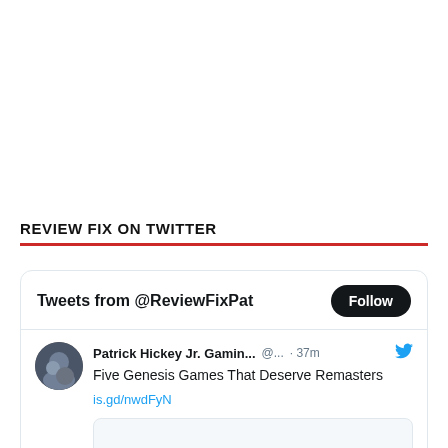REVIEW FIX ON TWITTER
[Figure (screenshot): Twitter widget showing tweets from @ReviewFixPat with a Follow button and a tweet by Patrick Hickey Jr. Gamin... @... 37m about 'Five Genesis Games That Deserve Remasters is.gd/nwdFyN']